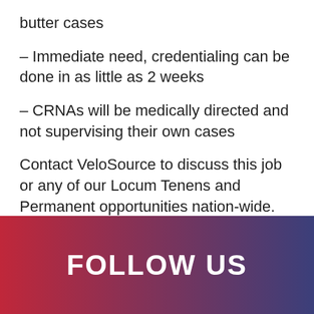butter cases
– Immediate need, credentialing can be done in as little as 2 weeks
– CRNAs will be medically directed and not supervising their own cases
Contact VeloSource to discuss this job or any of our Locum Tenens and Permanent opportunities nation-wide.
Read More
FOLLOW US